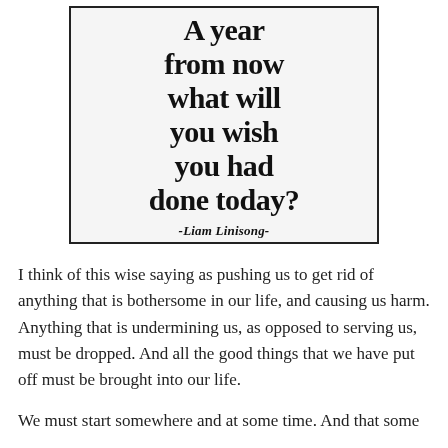[Figure (illustration): A quote sign with bold serif text reading 'A year from now what will you wish you had done today?' attributed to -Liam Linisong-]
I think of this wise saying as pushing us to get rid of anything that is bothersome in our life, and causing us harm. Anything that is undermining us, as opposed to serving us, must be dropped. And all the good things that we have put off must be brought into our life.
We must start somewhere and at some time. And that some